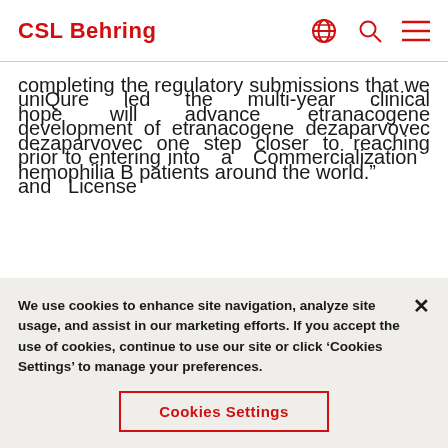CSL Behring
completing the regulatory submissions that we hope will advance etranacogene dezaparvovec one step closer to reaching hemophilia B patients around the world."
uniQure led the multi-year clinical development of etranacogene dezaparvovec prior to entering into a Commercialization and License
We use cookies to enhance site navigation, analyze site usage, and assist in our marketing efforts. If you accept the use of cookies, continue to use our site or click 'Cookies Settings' to manage your preferences.
Cookies Settings